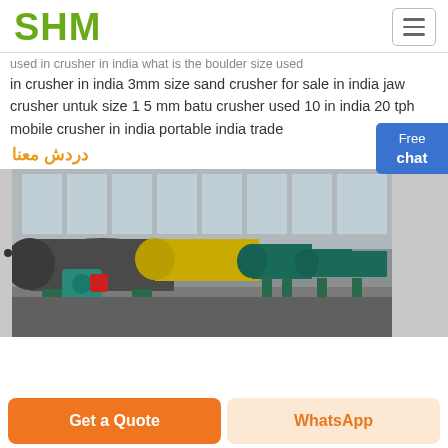SHM
used in crusher in india what is the boulder size used in crusher in india 3mm size sand crusher for sale in india jaw crusher untuk size 1 5 mm batu crusher used 10 in india 20 tph mobile crusher in india portable india trade
دردش معنا
[Figure (photo): Industrial magnetic separation machines lined up in a large factory building with large windows. Several cylindrical drum machines on green metal frames are visible, with yellow and red colored components.]
Free chat
Get a Quote
WhatsApp